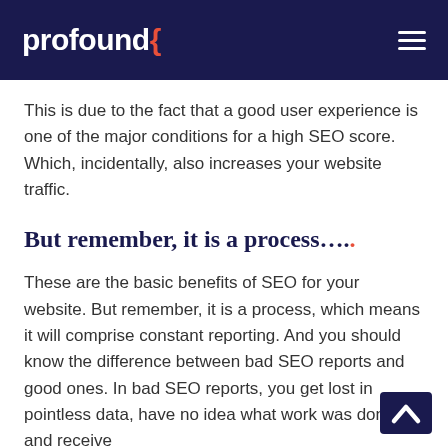profound{
This is due to the fact that a good user experience is one of the major conditions for a high SEO score. Which, incidentally, also increases your website traffic.
But remember, it is a process....
These are the basic benefits of SEO for your website. But remember, it is a process, which means it will comprise constant reporting. And you should know the difference between bad SEO reports and good ones. In bad SEO reports, you get lost in pointless data, have no idea what work was done, and receive